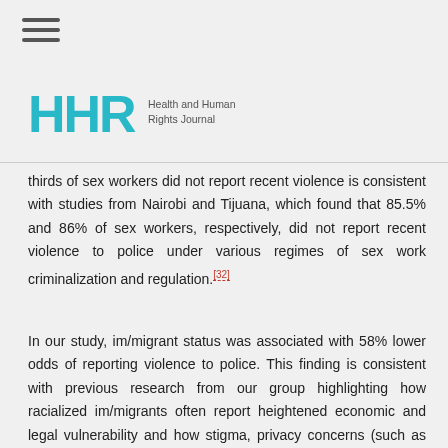[Figure (logo): HHR Health and Human Rights Journal logo with teal/cyan colored letters HHR and smaller text to the right]
thirds of sex workers did not report recent violence is consistent with studies from Nairobi and Tijuana, which found that 85.5% and 86% of sex workers, respectively, did not report recent violence to police under various regimes of sex work criminalization and regulation.[32]
In our study, im/migrant status was associated with 58% lower odds of reporting violence to police. This finding is consistent with previous research from our group highlighting how racialized im/migrants often report heightened economic and legal vulnerability and how stigma, privacy concerns (such as police putting sex work on one's criminal record or one's family finding out), and risk of immigration status revocation